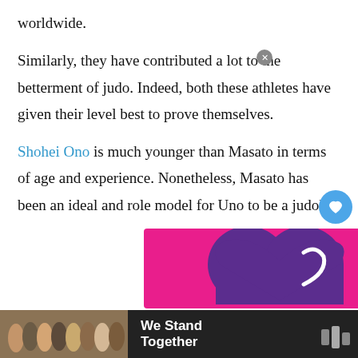worldwide.
Similarly, they have contributed a lot to the betterment of judo. Indeed, both these athletes have given their level best to prove themselves.
Shohei Ono is much younger than Masato in terms of age and experience. Nonetheless, Masato has been an ideal and role model for Uno to be a judoka.
[Figure (illustration): Pink background with purple heart shape graphic, partial view of advertisement image]
[Figure (photo): Footer advertisement showing group of people arm in arm from behind with text 'We Stand Together' and logo on dark background]